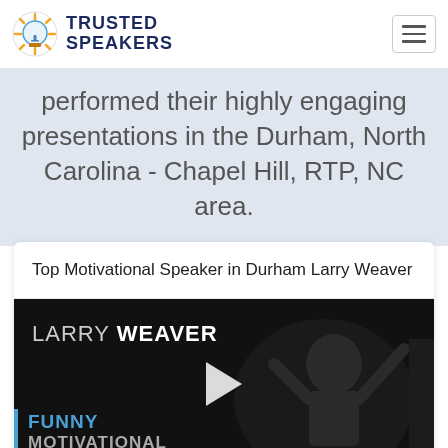TRUSTED SPEAKERS
performed their highly engaging presentations in the Durham, North Carolina - Chapel Hill, RTP, NC area.
Top Motivational Speaker in Durham Larry Weaver
[Figure (screenshot): Video thumbnail showing Larry Weaver on stage with text overlays: LARRY WEAVER, FUNNY MOTIVATIONAL SPEAKER, and a play button in the center.]